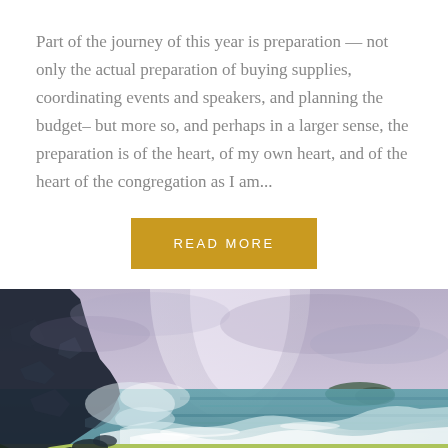Part of the journey of this year is preparation — not only the actual preparation of buying supplies, coordinating events and speakers, and planning the budget– but more so, and perhaps in a larger sense, the preparation is of the heart, of my own heart, and of the heart of the congregation as I am...
READ MORE
[Figure (illustration): Watercolor painting of a dramatic coastal scene with dark rocky cliffs on the left, turbulent white waves crashing, a stormy purple-grey sky with light breaking through, teal ocean water in the middle distance, a small dark island on the horizon, and green-yellow sandy shore in the foreground.]